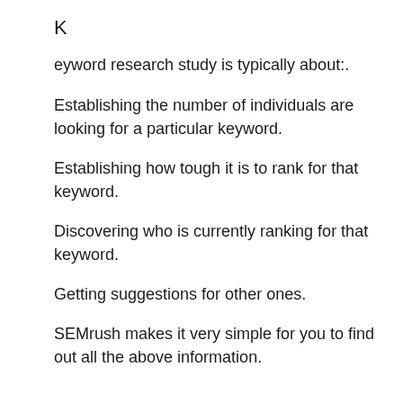K
eyword research study is typically about:.
Establishing the number of individuals are looking for a particular keyword.
Establishing how tough it is to rank for that keyword.
Discovering who is currently ranking for that keyword.
Getting suggestions for other ones.
SEMrush makes it very simple for you to find out all the above information.